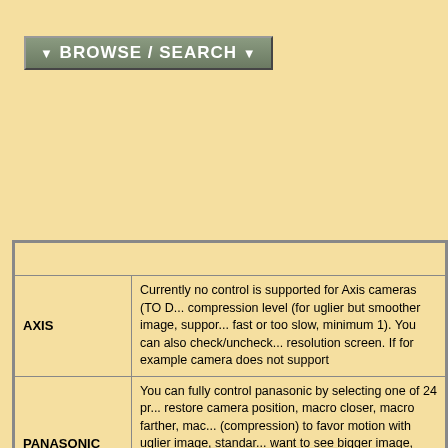[Figure (other): Browse/Search navigation button with grey-green gradient background and white bold text '▼ BROWSE / SEARCH ▼']
|  |  |
| --- | --- |
| AXIS | Currently no control is supported for Axis cameras (TO D... compression level (for uglier but smoother image, suppor... fast or too slow, minimum 1). You can also check/unche... resolution screen. If for example camera does not support |
| PANASONIC | You can fully control panasonic by selecting one of 24 pr... restore camera position, macro closer, macro farther, mac... (compression) to favor motion with uglier image, standar... want to see bigger image, click "Zoom In". Vua la you ha... available/saved for camera. When You click any of contr... answer to clicked control. |
| CANON
(older) | You can pick one of 8 resolutions. Not all devices support |